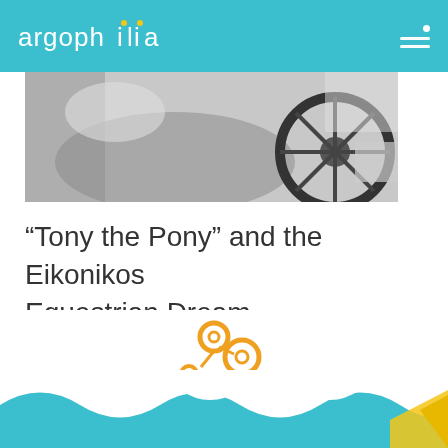argophilia
[Figure (photo): Close-up grayscale photo of a horse and wheel, cropped at top of page]
“Tony the Pony” and the Eikonikos Equestrian Dream
[Figure (logo): eyewide digital marketing logo with orange connected-circles icon above the text]